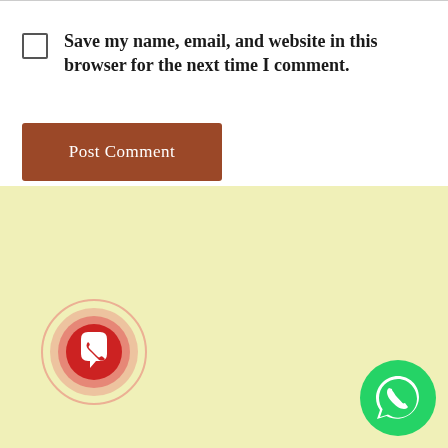Save my name, email, and website in this browser for the next time I comment.
Post Comment
[Figure (illustration): Red pulsing WhatsApp icon with concentric red circles, bottom-left of yellow section]
[Figure (illustration): Green WhatsApp icon, bottom-right corner]